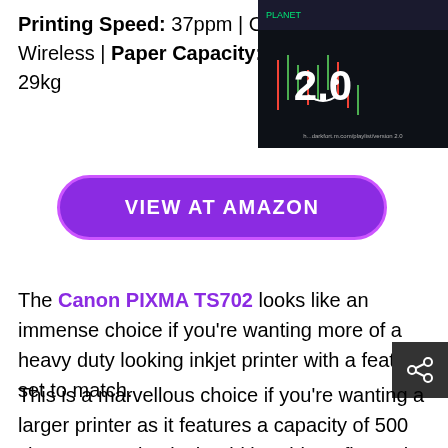Printing Speed: 37ppm | C... Wireless | Paper Capacity: ... 29kg
[Figure (screenshot): Thumbnail screenshot of a trading chart screen with '2.0' text overlay, dark background with candlestick chart]
VIEW AT AMAZON
The Canon PIXMA TS702 looks like an immense choice if you’re wanting more of a heavy duty looking inkjet printer with a feature set to match.
This is a marvellous choice if you’re wanting a larger printer as it features a capacity of 500 sheets, meaning it should be able to fit neatly an